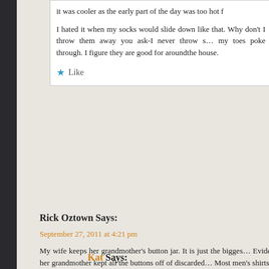it was cooler as the early part of the day was too hot f…
I hated it when my socks would slide down like that. Why don't I throw them away you ask-I never throw s… my toes poke through. I figure they are good for aroundthe house.
Like
Rick Oztown Says:
September 27, 2011 at 4:21 pm
My wife keeps her grandmother's button jar. It is just the bigges… Evidently, her grandmother kept all the buttons off of discarded… Most men's shirts now come with extra collar buttons and front b… one there for me, it is off to the grandmother's jar she goes. Eve… puts new ones in there, finding something special about THAT… happy.
http://30.media.tumblr.com/tumblr_liqjknF1481qf62g8o1_500.jpg
Like
Kat Says:
September 27, 2011 at 4:58 pm